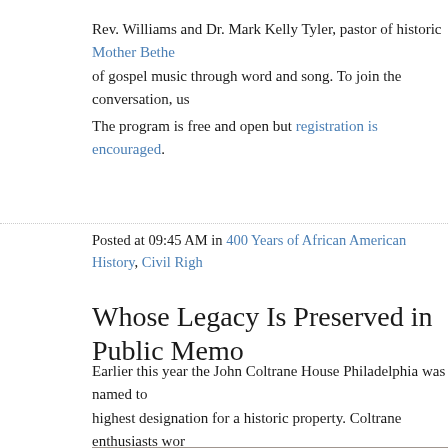Rev. Williams and Dr. Mark Kelly Tyler, pastor of historic Mother Bethe of gospel music through word and song. To join the conversation, us
The program is free and open but registration is encouraged.
Posted at 09:45 AM in 400 Years of African American History, Civil Righ
Whose Legacy Is Preserved in Public Memo
Earlier this year the John Coltrane House Philadelphia was named to highest designation for a historic property. Coltrane enthusiasts wor experienced a spiritual awakening has fallen into disrepair.
[Figure (photo): Exterior photograph of a historic brick building, appears to be the John Coltrane House in Philadelphia. The building shows a brownish-red brick facade with windows visible. The image has a somewhat faded, overcast quality.]